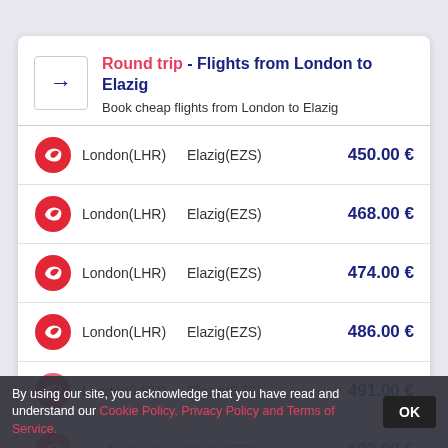Round trip - Flights from London to Elazig
Book cheap flights from London to Elazig
| Airline | From | To | Price |
| --- | --- | --- | --- |
| Turkish Airlines | London(LHR) | Elazig(EZS) | 450.00 € |
| Turkish Airlines | London(LHR) | Elazig(EZS) | 468.00 € |
| Turkish Airlines | London(LHR) | Elazig(EZS) | 474.00 € |
| Turkish Airlines | London(LHR) | Elazig(EZS) | 486.00 € |
| Turkish Airlines | London(LHR) | Elazig(EZS) | 491.00 € |
| Turkish Airlines | London(LHR) | Elazig(EZS) | 503.00 € |
By using our site, you acknowledge that you have read and understand our Cookie Policy, Privacy Policy and Terms of Service.